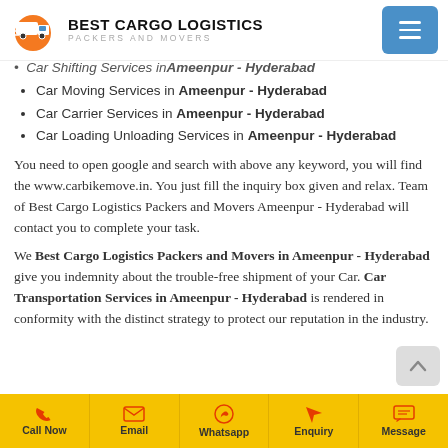BEST CARGO LOGISTICS PACKERS AND MOVERS
Car Shifting Services in Ameenpur - Hyderabad (partially visible)
Car Moving Services in Ameenpur - Hyderabad
Car Carrier Services in Ameenpur - Hyderabad
Car Loading Unloading Services in Ameenpur - Hyderabad
You need to open google and search with above any keyword, you will find the www.carbikemove.in. You just fill the inquiry box given and relax. Team of Best Cargo Logistics Packers and Movers Ameenpur - Hyderabad will contact you to complete your task.
We Best Cargo Logistics Packers and Movers in Ameenpur - Hyderabad give you indemnity about the trouble-free shipment of your Car. Car Transportation Services in Ameenpur - Hyderabad is rendered in conformity with the distinct strategy to protect our reputation in the industry.
Call Now | Email | Whatsapp | Enquiry | Message